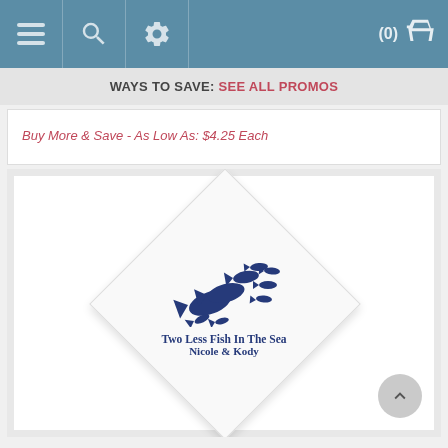Navigation bar with hamburger menu, search, settings icons and cart (0)
WAYS TO SAVE: SEE ALL PROMOS
Buy More & Save - As Low As: $4.25 Each
[Figure (photo): White napkin displayed diamond (rotated 45°) orientation with a school of navy blue fish illustration and text 'Two Less Fish In The Sea / Nicole & Kody' printed in navy blue.]